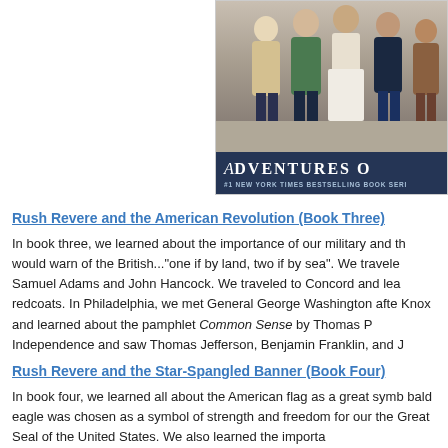[Figure (photo): Book cover showing group of people with title 'Adventures of...' and subtitle '#1 New York Times Bestselling Book Series']
Rush Revere and the American Revolution (Book Three)
In book three, we learned about the importance of our military and the would warn of the British..."one if by land, two if by sea".  We traveled Samuel Adams and John Hancock.  We traveled to Concord and lea redcoats.  In Philadelphia, we met General George Washington afte Knox and learned about the pamphlet Common Sense by Thomas P Independence and saw Thomas Jefferson, Benjamin Franklin, and J
Rush Revere and the Star-Spangled Banner (Book Four)
In book four, we learned all about the American flag as a great symb bald eagle was chosen as a symbol of strength and freedom for our the Great Seal of the United States. We also learned the importa